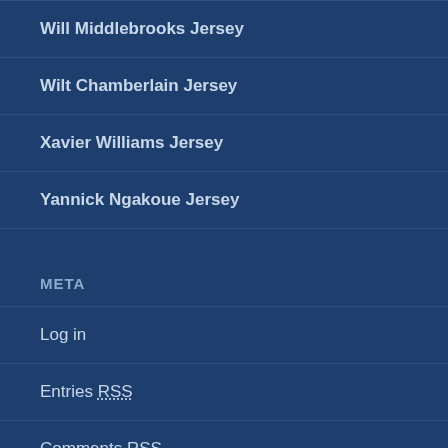Will Middlebrooks Jersey
Wilt Chamberlain Jersey
Xavier Williams Jersey
Yannick Ngakoue Jersey
META
Log in
Entries RSS
Comments RSS
WordPress.org